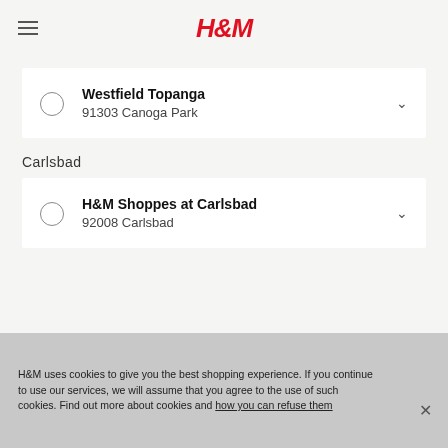H&M
Westfield Topanga
91303 Canoga Park
Carlsbad
H&M Shoppes at Carlsbad
92008 Carlsbad
H&M uses cookies to give you the best shopping experience. If you continue to use our services, we will assume that you agree to the use of such cookies. Find out more about cookies and how you can refuse them